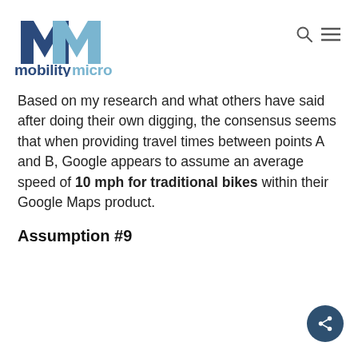[Figure (logo): MobilityMicro logo: two overlapping M letters in dark blue and light blue, with 'mobilitymicro' text below in bold dark blue and light blue]
Based on my research and what others have said after doing their own digging, the consensus seems that when providing travel times between points A and B, Google appears to assume an average speed of 10 mph for traditional bikes within their Google Maps product.
Assumption #9